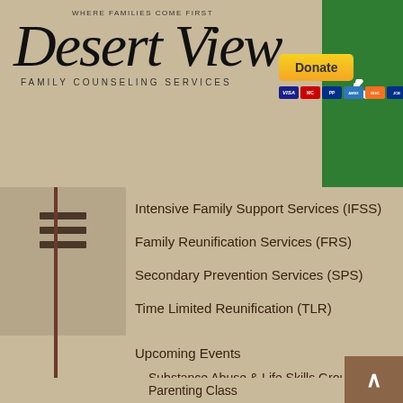[Figure (logo): Desert View Family Counseling Services logo with tagline 'Where Families Come First']
[Figure (other): Donate button with PayPal and credit card payment icons]
[Figure (other): Green phone call button on the right side of header]
Intensive Family Support Services (IFSS)
Family Reunification Services (FRS)
Secondary Prevention Services (SPS)
Time Limited Reunification (TLR)
Upcoming Events
Substance Abuse & Life Skills Group!
Parenting Class